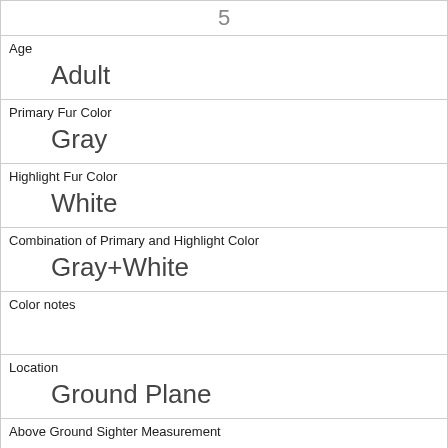| 5 |
| Age | Adult |
| Primary Fur Color | Gray |
| Highlight Fur Color | White |
| Combination of Primary and Highlight Color | Gray+White |
| Color notes |  |
| Location | Ground Plane |
| Above Ground Sighter Measurement | FALSE |
| Specific Location | base of tree with ~ 30 small birds all eating |
| Running | 0 |
| Chasing | 0 |